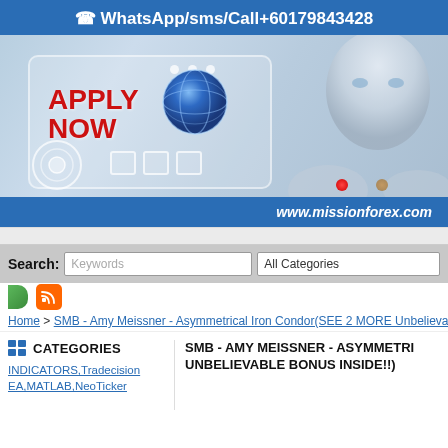WhatsApp/sms/Call+60179843428
[Figure (illustration): Robot/android humanoid figure with robotic hand pointing at a digital touchscreen interface showing 'APPLY NOW' text in red and a blue globe, with futuristic UI elements. Blue banner at bottom reads www.missionforex.com]
Search: Keywords  All Categories
Home > SMB - Amy Meissner - Asymmetrical Iron Condor(SEE 2 MORE Unbelievable)
CATEGORIES
INDICATORS,Tradecision EA,MATLAB,NeoTicker
SMB - AMY MEISSNER - ASYMMETRICAL ... UNBELIEVABLE BONUS INSIDE!!)